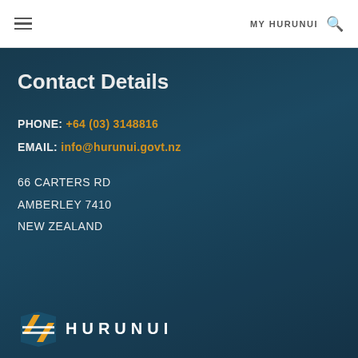MY HURUNUI
Contact Details
PHONE: +64 (03) 3148816
EMAIL: info@hurunui.govt.nz
66 CARTERS RD
AMBERLEY 7410
NEW ZEALAND
[Figure (logo): Hurunui District Council logo with stylized H emblem in blue and gold, with text HURUNUI in white spaced letters]